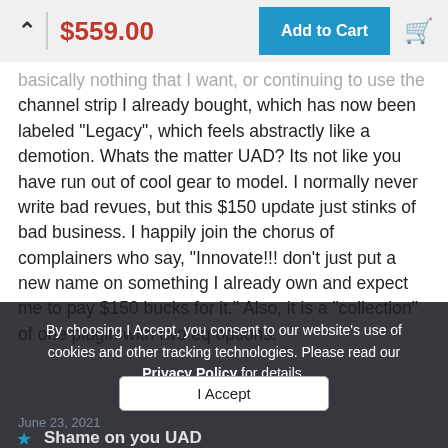$559.00  Add to Cart
basically nothing that I want, or continuing to use the channel strip I already bought, which has now been labeled "Legacy", which feels abstractly like a demotion. Whats the matter UAD? Its not like you have run out of cool gear to model. I normally never write bad revues, but this $150 update just stinks of bad business. I happily join the chorus of complainers who say, "Innovate!!! don't just put a new name on something I already own and expect me to pay $150 bucks for it." Also, it is a "collection" of one plugin with two eq options.
By choosing I Accept, you consent to our website's use of cookies and other tracking technologies. Please read our Privacy Policy for details.
I Accept
June 23, 2021
Shame on you UAD